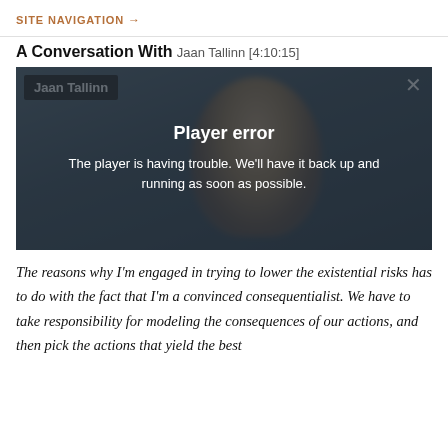SITE NAVIGATION →
A Conversation With Jaan Tallinn [4:10:15]
[Figure (screenshot): Video player showing Jaan Tallinn with a 'Player error' overlay message reading: 'The player is having trouble. We'll have it back up and running as soon as possible.']
The reasons why I'm engaged in trying to lower the existential risks has to do with the fact that I'm a convinced consequentialist. We have to take responsibility for modeling the consequences of our actions, and then pick the actions that yield the best